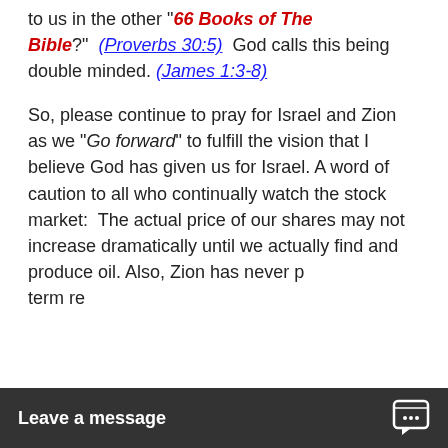to us in the other "66 Books of The Bible?" (Proverbs 30:5) God calls this being double minded. (James 1:3-8)
So, please continue to pray for Israel and Zion as we "Go forward" to fulfill the vision that I believe God has given us for Israel. A word of caution to all who continually watch the stock market:  The actual price of our shares may not increase dramatically until we actually find and produce oil. Also, Zion has never p[aid a] term re[turn]
Leave a message